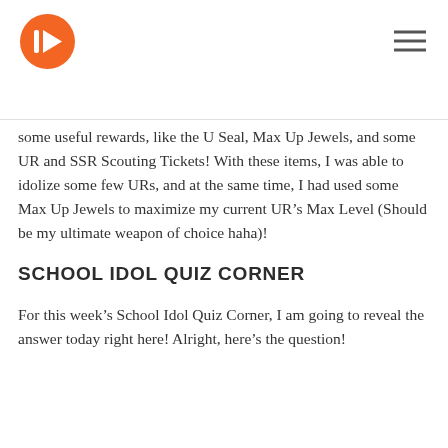Logo and navigation header
some useful rewards, like the U Seal, Max Up Jewels, and some UR and SSR Scouting Tickets! With these items, I was able to idolize some few URs, and at the same time, I had used some Max Up Jewels to maximize my current UR’s Max Level (Should be my ultimate weapon of choice haha)!
SCHOOL IDOL QUIZ CORNER
For this week’s School Idol Quiz Corner, I am going to reveal the answer today right here! Alright, here’s the question!